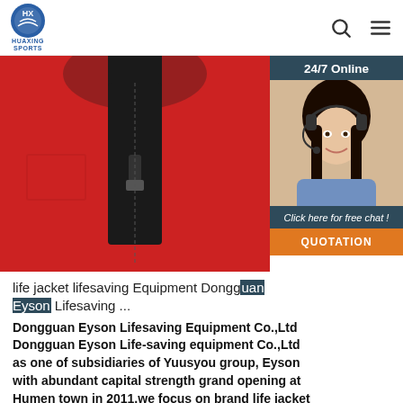HUAXING SPORTS
[Figure (photo): Close-up of a red life jacket with a black zipper and small chest pocket, overlaid with a 24/7 Online chat widget showing a female customer service agent wearing a headset]
life jacket lifesaving Equipment Dongguan Eyson Lifesaving ...
Dongguan Eyson Lifesaving Equipment Co.,Ltd Dongguan Eyson Life-saving equipment Co.,Ltd as one of subsidiaries of Yuusyou group, Eyson with abundant capital strength grand opening at Humen town in 2011,we focus on brand life jacket production, sales, research and development.
Get Price